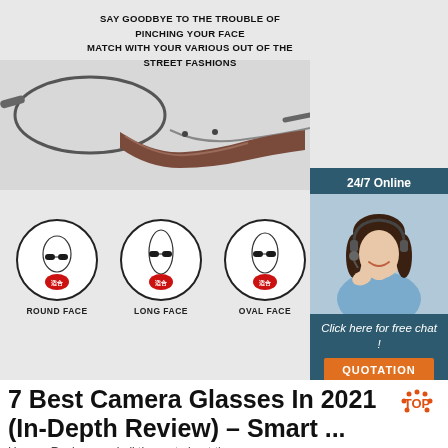[Figure (photo): Product image of glasses bridge/nose piece shown from underneath, with text overlay about face fitting]
SAY GOODBYE TO THE TROUBLE OF PINCHING YOUR FACE
MATCH WITH YOUR VARIOUS OUT OF THE STREET FASHIONS
[Figure (infographic): Four circular face shape icons (Round Face, Long Face, Oval Face, Square Face) showing cartoon faces wearing sunglasses with red badges]
[Figure (photo): Customer service agent woman wearing headset, with 24/7 Online label and Click here for free chat / QUOTATION button panel]
7 Best Camera Glasses In 2021 (In-Depth Review) – Smart ...